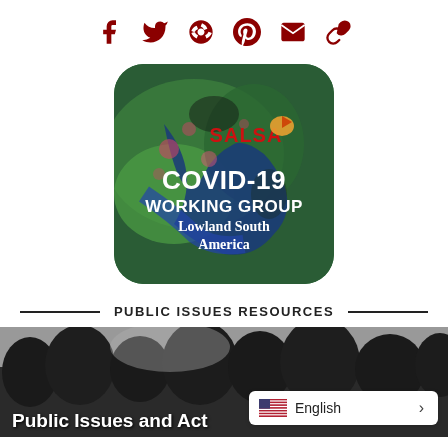[Figure (infographic): Social media sharing icons row: Facebook, Twitter, Google+, Pinterest, Email, Link — all in dark red/maroon color]
[Figure (logo): SALSA COVID-19 Working Group Lowland South America logo — rounded rectangle with satellite imagery of Amazon region background, white bold text reading COVID-19 WORKING GROUP Lowland South America, and SALSA text in red with decorative fish icon]
PUBLIC ISSUES RESOURCES
[Figure (photo): Dark landscape photo showing silhouetted trees against a grey sky, with overlay text 'Public Issues and Act[ivism]...' in bold white. Language selector widget showing US flag and 'English >' in bottom right corner.]